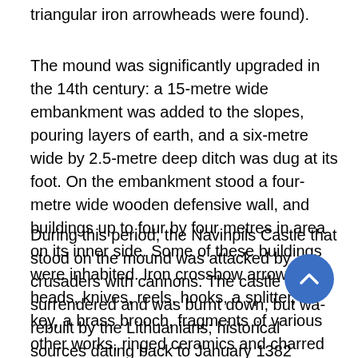triangular iron arrowheads were found).
The mound was significantly upgraded in the 14th century: a 15-metre wide embankment was added to the slopes, pouring layers of earth, and a six-metre wide by 2.5-metre deep ditch was dug at its foot. On the embankment stood a four-metre wide wooden defensive wall, and buildings up to four by four metres in area on its inner side. Some of these buildings were inhabited. Iron crossbow arrow heads, knives, reels, hooks, a splitter, a key, a brass brooch, fragments of various other works, ringed ceramics and charred grains were found there.
During this period, the Navinpils Castle that stood on the mound was attacked by crusaders with cannons. The castle surrendered and was burnt down, but was rebuilt by the Lithuanians; historical sources dating back to January 1382 mention this. The castle was eventually burnt down when it lost its defensive significance. In the